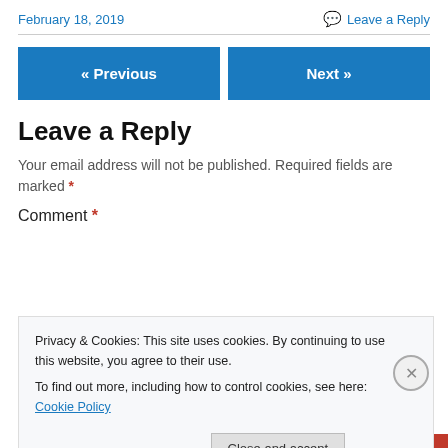February 18, 2019   Leave a Reply
Leave a Reply
Your email address will not be published. Required fields are marked *
Comment *
Privacy & Cookies: This site uses cookies. By continuing to use this website, you agree to their use.
To find out more, including how to control cookies, see here: Cookie Policy
Close and accept